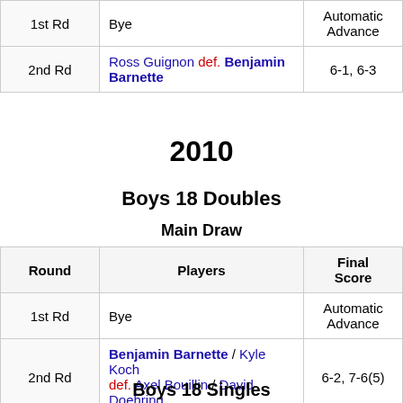| Round | Players | Final Score |
| --- | --- | --- |
| 1st Rd | Bye | Automatic Advance |
| 2nd Rd | Ross Guignon def. Benjamin Barnette | 6-1, 6-3 |
2010
Boys 18 Doubles
Main Draw
| Round | Players | Final Score |
| --- | --- | --- |
| 1st Rd | Bye | Automatic Advance |
| 2nd Rd | Benjamin Barnette / Kyle Koch def. Axel Bouillin / David Doehring | 6-2, 7-6(5) |
| 3rd Rd | Jordan Cox / Denis Kudla (1) def. Benjamin Barnette / Kyle Koch | 6-1, 6-4 |
Boys 18 Singles